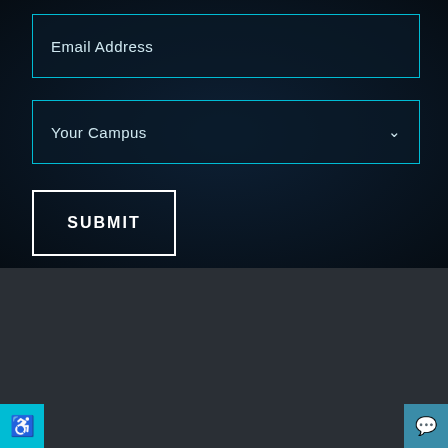Email Address
Your Campus
SUBMIT
we believe in church that is
REAL.MESSY.NEW.
Main Offices
03.794.3564